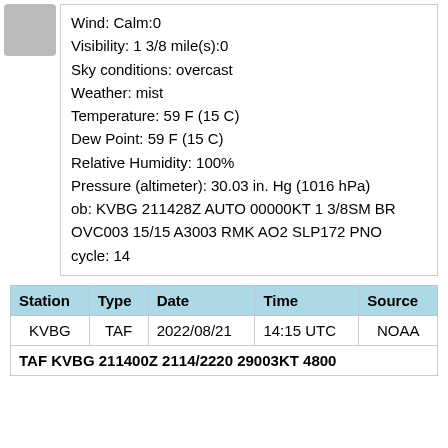Wind: Calm:0
Visibility: 1 3/8 mile(s):0
Sky conditions: overcast
Weather: mist
Temperature: 59 F (15 C)
Dew Point: 59 F (15 C)
Relative Humidity: 100%
Pressure (altimeter): 30.03 in. Hg (1016 hPa)
ob: KVBG 211428Z AUTO 00000KT 1 3/8SM BR OVC003 15/15 A3003 RMK AO2 SLP172 PNO
cycle: 14
| Station | Type | Date | Time | Source |
| --- | --- | --- | --- | --- |
| KVBG | TAF | 2022/08/21 | 14:15 UTC | NOAA |
| TAF KVBG 211400Z 2114/2220 29003KT 4800 |  |  |  |  |
[Figure (other): Gray square placeholder image in top-left corner]